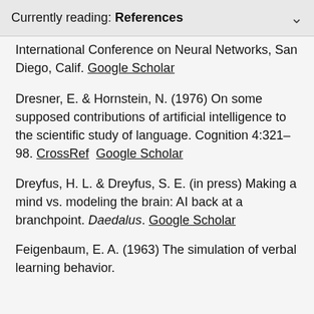Currently reading: References
International Conference on Neural Networks, San Diego, Calif. Google Scholar
Dresner, E. & Hornstein, N. (1976) On some supposed contributions of artificial intelligence to the scientific study of language. Cognition 4:321–98. CrossRef  Google Scholar
Dreyfus, H. L. & Dreyfus, S. E. (in press) Making a mind vs. modeling the brain: AI back at a branchpoint. Daedalus. Google Scholar
Feigenbaum, E. A. (1963) The simulation of verbal learning behavior.